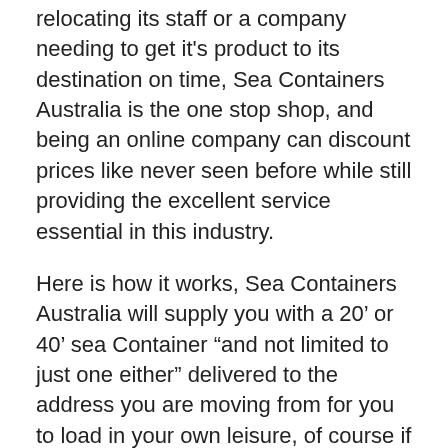relocating its staff or a company needing to get it's product to its destination on time, Sea Containers Australia is the one stop shop, and being an online company can discount prices like never seen before while still providing the excellent service essential in this industry.
Here is how it works, Sea Containers Australia will supply you with a 20’ or 40’ sea Container “and not limited to just one either” delivered to the address you are moving from for you to load in your own leisure, of course if you own your own container this won’t be necessary, once the container is loaded Sea Containers Australia will collect the container and transport to your new address for you to unload in your own leisure, once the container is unloaded Sea Containers Australia collect the empty container in a timely